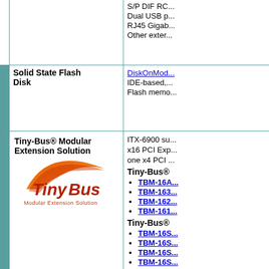|  |  | S/P DIF RC...
Dual USB p...
RJ45 Gigab...
Other exter... |
|  | Solid State Flash Disk | DiskOnMod...
IDE-based,...
Flash memo... |
|  | Tiny-Bus® Modular Extension Solution [logo] | ITX-6900 su...
x16 PCI Exp...
one x4 PCI...
Tiny-Bus®...
• TBM-16A...
• TBM-163...
• TBM-162...
• TBM-161...
Tiny-Bus®...
• TBM-16S...
• TBM-16S...
• TBM-16S...
• TBM-16S... |